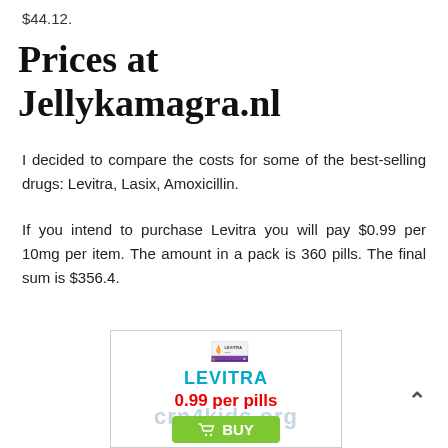$44.12.
Prices at Jellykamagra.nl
I decided to compare the costs for some of the best-selling drugs: Levitra, Lasix, Amoxicillin.
If you intend to purchase Levitra you will pay $0.99 per 10mg per item. The amount in a pack is 360 pills. The final sum is $356.4.
[Figure (screenshot): Advertisement box for Levitra showing a pill box image, the brand name LEVITRA in teal, price 0.99 per pills in red, and a green BUY button with shopping cart icon. Watermark text crn4kids.org overlaid.]